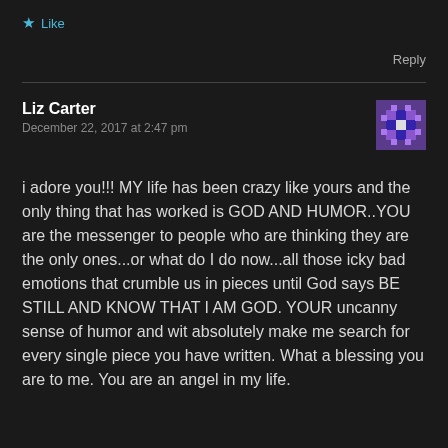★ Like
Reply
Liz Carter
December 22, 2017 at 2:47 pm
i adore you!!! MY life has been crazy like yours and the only thing that has worked is GOD AND HUMOR..YOU are the messenger to people who are thinking they are the only ones...or what do I do now...all those icky bad emotions that crumble us in pieces until God says BE STILL AND KNOW THAT I AM GOD. YOUR uncanny sense of humor and wit absolutely make me search for every single piece you have written. What a blessing you are to me. You are an angel in my life.